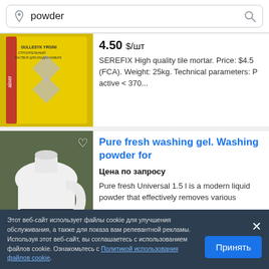powder
[Figure (photo): Yellow bag of SEREFIX tile mortar powder with diamond pattern graphic]
4.50 $/шт
SEREFIX High quality tile mortar. Price: $4.5 (FCA). Weight: 25kg. Technical parameters: P active < 370...
[Figure (photo): White plastic jug of Pure Fresh Waschgel Universal laundry gel]
Pure fresh washing gel. Washing powder for
Цена по запросу
Pure fresh Universal 1.5 l is a modern liquid powder that effectively removes various
Этот веб-сайт использует файлы cookie для улучшения обслуживания, а также для показа вам релевантной рекламы. Используя этот веб-сайт, вы соглашаетесь с использованием файлов cookie. Ознакомьтесь с Политикой использования файлов cookie.
Принять